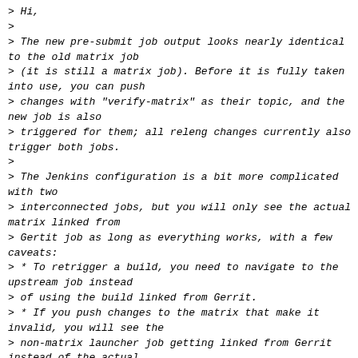> Hi,
>
> The new pre-submit job output looks nearly identical to the old matrix job
> (it is still a matrix job). Before it is fully taken into use, you can push
> changes with "verify-matrix" as their topic, and the new job is also
> triggered for them; all releng changes currently also trigger both jobs.
>
> The Jenkins configuration is a bit more complicated with two
> interconnected jobs, but you will only see the actual matrix linked from
> Gertit job as long as everything works, with a few caveats:
> * To retrigger a build, you need to navigate to the upstream job instead
> of using the build linked from Gerrit.
> * If you push changes to the matrix that make it invalid, you will see the
> non-matrix launcher job getting linked from Gerrit instead of the actual
> matrix job.
> * And if someone manually aborts the matrix job, there can be some
> glitches (I think that currently, the build is reported as failed instead
> of aborted).